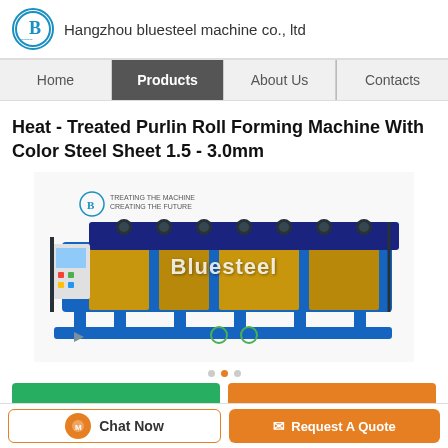Hangzhou bluesteel machine co., ltd
Home | Products | About Us | Contacts
Heat - Treated Purlin Roll Forming Machine With Color Steel Sheet 1.5 - 3.0mm
[Figure (photo): Blue industrial purlin roll forming machine with multiple rollers, branded Bluesteel, with watermark text overlay reading 'Bluesteel']
Chat Now | Request A Quote